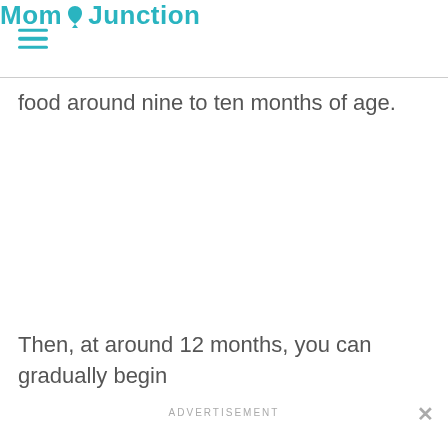MomJunction
food around nine to ten months of age.
Then, at around 12 months, you can gradually begin
ADVERTISEMENT